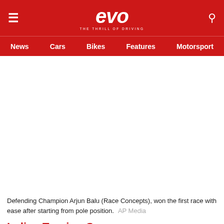evo — THE THRILL OF DRIVING
News  Cars  Bikes  Features  Motorsport
[Figure (photo): Large image area (white/blank) showing a race car scene — Defending Champion Arjun Balu]
Defending Champion Arjun Balu (Race Concepts), won the first race with ease after starting from pole position.   AP Media
Indian Touring C...